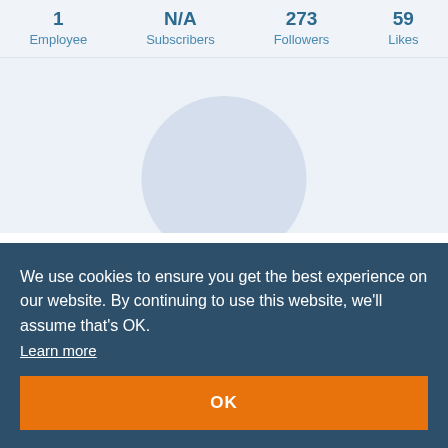| Employee | Subscribers | Followers | Likes |
| --- | --- | --- | --- |
| 1 | N/A | 273 | 59 |
[Figure (illustration): Profile area with a large light blue/grey circular avatar placeholder on a light background]
We use cookies to ensure you get the best experience on our website. By continuing to use this website, we'll assume that's OK.
Learn more
OK